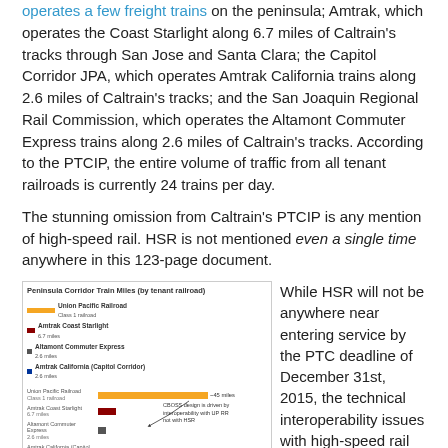operates a few freight trains on the peninsula; Amtrak, which operates the Coast Starlight along 6.7 miles of Caltrain's tracks through San Jose and Santa Clara; the Capitol Corridor JPA, which operates Amtrak California trains along 2.6 miles of Caltrain's tracks; and the San Joaquin Regional Rail Commission, which operates the Altamont Commuter Express trains along 2.6 miles of Caltrain's tracks. According to the PTCIP, the entire volume of traffic from all tenant railroads is currently 24 trains per day.
The stunning omission from Caltrain's PTCIP is any mention of high-speed rail. HSR is not mentioned even a single time anywhere in this 123-page document.
[Figure (bar-chart): Peninsula Corridor Train Miles (by tenant railroad)]
While HSR will not be anywhere near entering service by the PTC deadline of December 31st, 2015, the technical interoperability issues with high-speed rail are